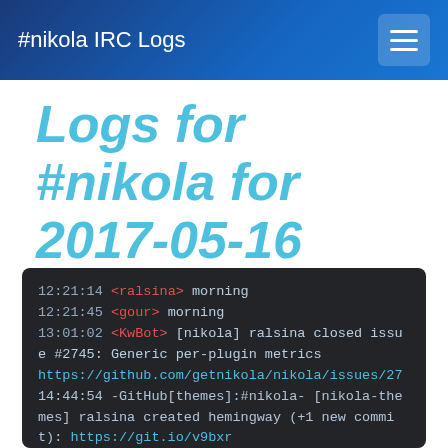#nikola IRC Logs
Logs for #nikola for 2017-05-16
12:21:14 <ralsina> morning
12:21:45 <gour> morning
13:01:02 <KwBot> [nikola] ralsina closed issue #2745: Generic per-plugin metrics https://github.com/getnikola/nikola/issues/27
14:44:54 -GitHub[themes]:#nikola- [nikola-themes] ralsina created hemingway (+1 new commit): https://git.io/v9bxr
14:44:54 -GitHub[themes]:#nikola- nikola-themes/hemingway 34c6b14 Roberto Alsina: New Hemingway theme
14:45:34 -GitHub[themes]:#nikola- [nikola-themes] ralsina opened pull request #117: New Hemingway theme (master...hemingway)